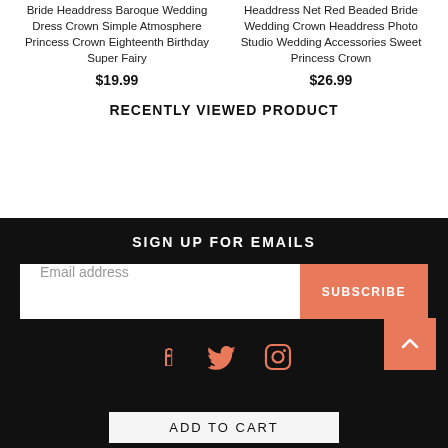Bride Headdress Baroque Wedding Dress Crown Simple Atmosphere Princess Crown Eighteenth Birthday Super Fairy
$19.99
Headdress Net Red Beaded Bride Wedding Crown Headdress Photo Studio Wedding Accessories Sweet Princess Crown
$26.99
RECENTLY VIEWED PRODUCT
SIGN UP FOR EMAILS
Email address
SUBSCRIBE
ADD TO CART